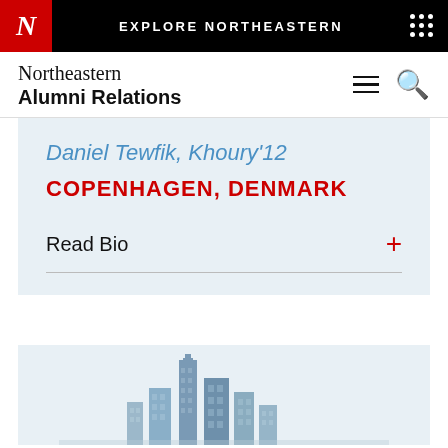EXPLORE NORTHEASTERN
Northeastern Alumni Relations
Daniel Tewfik, Khoury'12
COPENHAGEN, DENMARK
Read Bio
[Figure (illustration): Partial city skyline illustration at the bottom of the page, rendered in muted blue-grey tones]